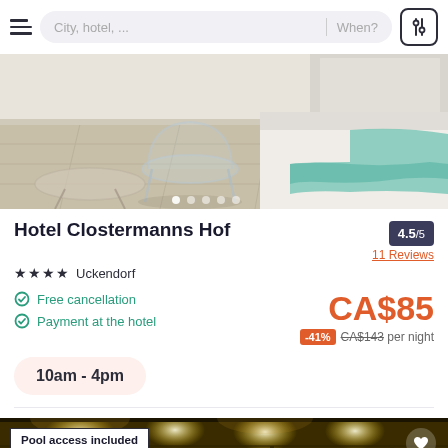City, hotel, ... | When?
[Figure (photo): Hotel room interior photo showing a transparent chair, light wood floor, white bed with teal/mint throw blanket. Carousel dots visible at bottom.]
Hotel Clostermanns Hof
★★★★ Uckendorf
4.5/5
11 Reviews
Free cancellation
Payment at the hotel
CA$85
-41% CA$143 per night
10am - 4pm
[Figure (photo): Hotel venue/pool area with warm golden lighting, recessed ceiling lights, and lush plants. Badge reads 'Pool access included'. Heart/favourite icon in top right.]